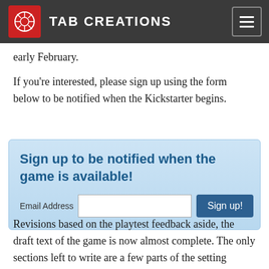TAB CREATIONS
early February.
If you're interested, please sign up using the form below to be notified when the Kickstarter begins.
Sign up to be notified when the game is available!
Email Address  [input]  Sign up!
Revisions based on the playtest feedback aside, the draft text of the game is now almost complete. The only sections left to write are a few parts of the setting chapter and the remaining entries in the